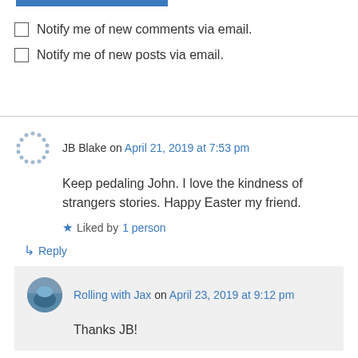Notify me of new comments via email.
Notify me of new posts via email.
JB Blake on April 21, 2019 at 7:53 pm
Keep pedaling John. I love the kindness of strangers stories. Happy Easter my friend.
Liked by 1 person
Reply
Rolling with Jax on April 23, 2019 at 9:12 pm
Thanks JB!